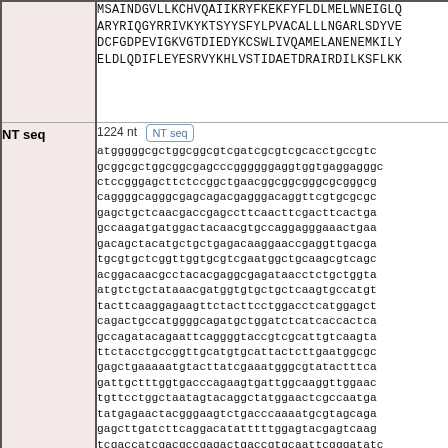MSAINDGVLLKCHVQAIIKRYFKEKFYFLDLMELWNEIGLQ ARYRIQGYRRIVKYKTSYYSFYLPVACALLLNGARLSDYVE DCFGDPEVIGKVGTDIEDYKCSWLIVQAMELANENEMKILY ELDLQDIFLEYESRVYKHLVSTIDAETDRAIRDILKSFLKK
1224 nt  NT seq
atgggggcgctggcggcgtcgatcgcgtcgcacctgccgtc gcggcgctggcggcgagcccggggggaggtggtgaggagggc ctccgggagcttctccggctgaacggcggcgggcgcgggcg caggggcagggcgagcagacgagggacaggttcgtgcgcgc gagctgctcaacgaccgagccttcaacttcgacttcactga gccaagatgatggactacaacgtgccaggagggaaactgaa gacagctacatgctgctgagacaaggaaccgaggttgacga tgcgtgctcggttggtgcgtcgaatggctgcaagcgtcagc acggacaacgcctacacgaggcgagataacctctgctggta atgtctgctataaacgatggtgtgctgctcaagtgccatgt tacttcaaggagaagttctacttcctggacctcatggagct cagactgccatggggcagatgctggatctcatcaccactca gccagatacagaattcaggggtaccgtcgcattgtcaagta ttctacctgccggttgcatgtgcattactcttgaatggcgc gagctgaaaaatgtacttatcgaaatgggcgtatactttca gattgctttggtgacccagaagtgattggcaaggttggaac tgttcctggctaatagtacaggctatggaactcgccaatga tatgagaactacgggaagtctgacccaaaatgcgtagcaga gagcttgatcttcaggacatatttttggagtacgagtcaag tcgaccatcgacgccgagactgaccgtgcaattcgggatatc aagatttacaggaggaagaagtag